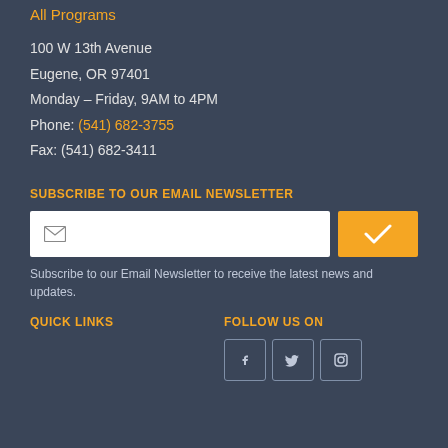All Programs
100 W 13th Avenue
Eugene, OR 97401
Monday – Friday, 9AM to 4PM
Phone: (541) 682-3755
Fax: (541) 682-3411
SUBSCRIBE TO OUR EMAIL NEWSLETTER
Subscribe to our Email Newsletter to receive the latest news and updates.
QUICK LINKS
FOLLOW US ON
[Figure (illustration): Social media icons: Facebook, Twitter, Instagram]